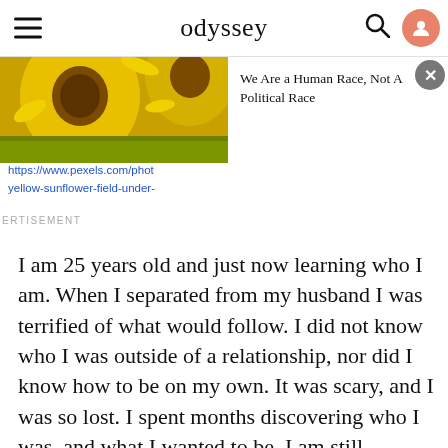odyssey
[Figure (photo): Close-up photo of yellow sunflowers]
We Are a Human Race, Not A Political Race
https://www.pexels.com/photo/yellow-sunflower-field-under-
ERTISEMENT
I am 25 years old and just now learning who I am. When I separated from my husband I was terrified of what would follow. I did not know who I was outside of a relationship, nor did I know how to be on my own. It was scary, and I was so lost. I spent months discovering who I was, and what I wanted to be. I am still searching as I believe we never truly know who we are even when we "grow up". I came to the realization that I had